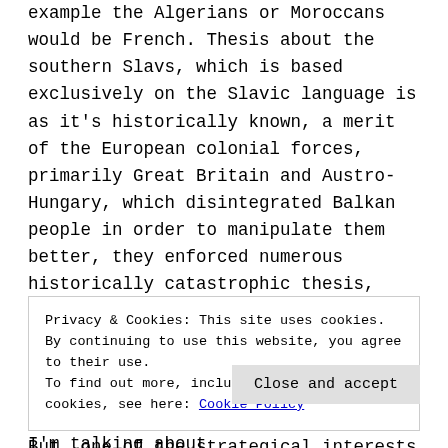example the Algerians or Moroccans would be French. Thesis about the southern Slavs, which is based exclusively on the Slavic language is as it's historically known, a merit of the European colonial forces, primarily Great Britain and Austro-Hungary, which disintegrated Balkan people in order to manipulate them better, they enforced numerous historically catastrophic thesis, primarily about the affiliation to the Slavs. We won't even notice genetic research which proved that there is a dominant Illyrian gene present when compared to all others. But, one of the strategical interests was stimulating
Privacy & Cookies: This site uses cookies. By continuing to use this website, you agree to their use. To find out more, including how to control cookies, see here: Cookie Policy
Close and accept
order to more clearly explain what I'm talking about